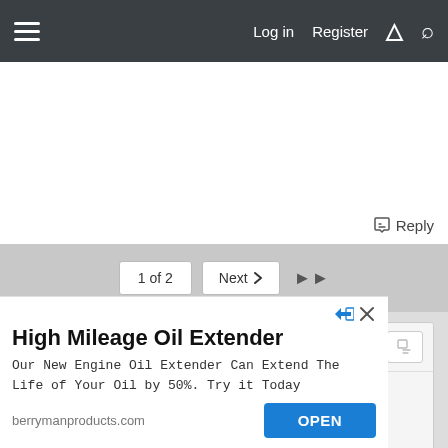Log in  Register
Reply
1 of 2   Next
[Figure (screenshot): Text editor reply box with toolbar icons (Bold, Italic, link, image, more options, undo, more, preview) and placeholder text 'Write your reply...']
High Mileage Oil Extender
Our New Engine Oil Extender Can Extend The Life of Your Oil by 50%. Try it Today
berrymanproducts.com
OPEN